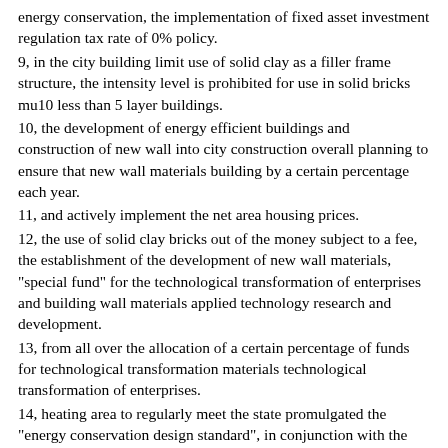energy conservation, the implementation of fixed asset investment regulation tax rate of 0% policy.
9, in the city building limit use of solid clay as a filler frame structure, the intensity level is prohibited for use in solid bricks mu10 less than 5 layer buildings.
10, the development of energy efficient buildings and construction of new wall into city construction overall planning to ensure that new wall materials building by a certain percentage each year.
11, and actively implement the net area housing prices.
12, the use of solid clay bricks out of the money subject to a fee, the establishment of the development of new wall materials, "special fund" for the technological transformation of enterprises and building wall materials applied technology research and development.
13, from all over the allocation of a certain percentage of funds for technological transformation materials technological transformation of enterprises.
14, heating area to regularly meet the state promulgated the "energy conservation design standard", in conjunction with the non-heating area to improve the building thermal environment to develop new wall materials application specific plan, organize and implement vigorously, in order to promote wall materials and insulation insulation materials development. promote the comprehensive promotion of energy-saving building.
15 cities on energy-efficient buildings and new wall construction.